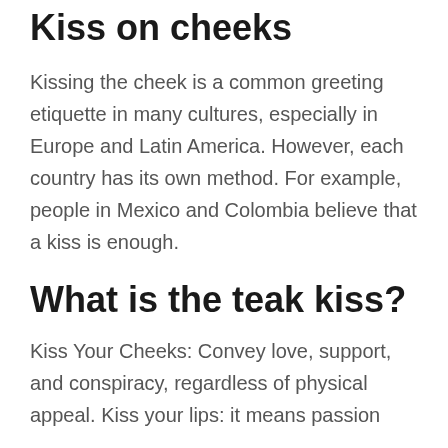Kiss on cheeks
Kissing the cheek is a common greeting etiquette in many cultures, especially in Europe and Latin America. However, each country has its own method. For example, people in Mexico and Colombia believe that a kiss is enough.
What is the teak kiss?
Kiss Your Cheeks: Convey love, support, and conspiracy, regardless of physical appeal. Kiss your lips: it means passion